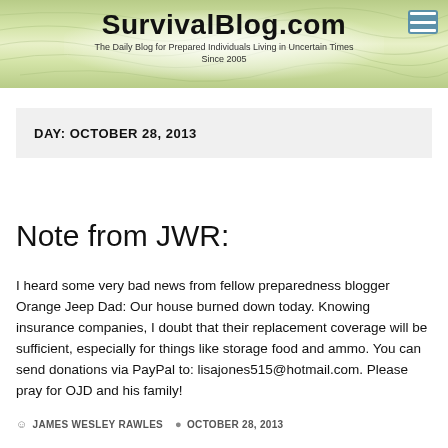SurvivalBlog.com – The Daily Blog for Prepared Individuals Living in Uncertain Times Since 2005
DAY: OCTOBER 28, 2013
Note from JWR:
I heard some very bad news from fellow preparedness blogger Orange Jeep Dad: Our house burned down today. Knowing insurance companies, I doubt that their replacement coverage will be sufficient, especially for things like storage food and ammo. You can send donations via PayPal to: lisajones515@hotmail.com. Please pray for OJD and his family!
JAMES WESLEY RAWLES   OCTOBER 28, 2013